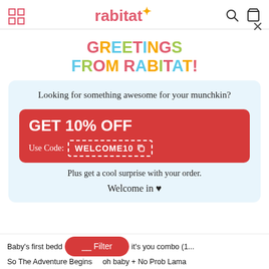rabitat
GREETINGS FROM RABITAT!
Looking for something awesome for your munchkin?
GET 10% OFF
Use Code: WELCOME10
Plus get a cool surprise with your order.
Welcome in ♥
Baby's first bedd... it's you combo (1...
So The Adventure Begins   oh baby + No Prob Lama